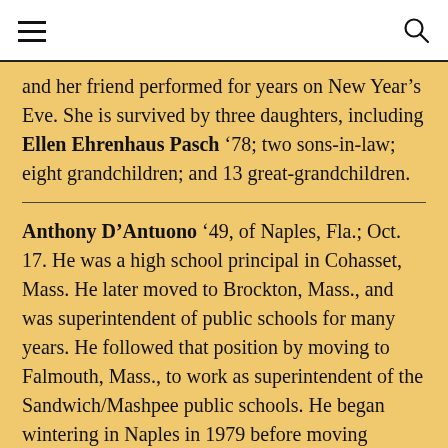and her friend performed for years on New Year’s Eve. She is survived by three daughters, including Ellen Ehrenhaus Pasch ’78; two sons-in-law; eight grandchildren; and 13 great-grandchildren.
Anthony D’Antuono ’49, of Naples, Fla.; Oct. 17. He was a high school principal in Cohasset, Mass. He later moved to Brockton, Mass., and was superintendent of public schools for many years. He followed that position by moving to Falmouth, Mass., to work as superintendent of the Sandwich/Mashpee public schools. He began wintering in Naples in 1979 before moving permanently in 1986. After retiring, he accredited colleges and universities for the government and eventually ended his long educational career by becoming a founder of Schiller